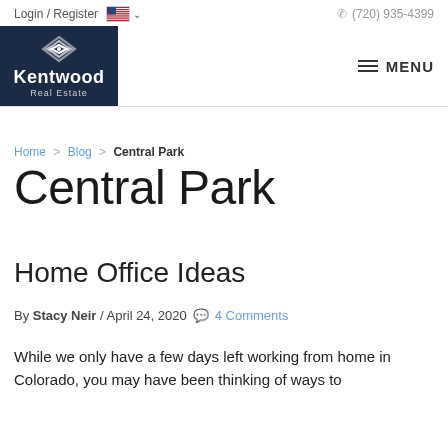Login / Register  (720) 935-4399
[Figure (logo): Kentwood Real Estate logo — dark navy blue square with wifi/signal icon and company name]
Home > Blog > Central Park
Central Park
Home Office Ideas
By Stacy Neir / April 24, 2020  4 Comments
While we only have a few days left working from home in Colorado, you may have been thinking of ways to